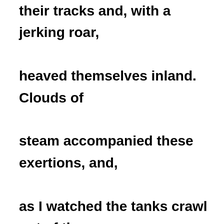their tracks and, with a jerking roar, heaved themselves inland. Clouds of steam accompanied these exertions, and, as I watched the tanks crawl out of the bellies of the line of the waiting ships, I was reminded of some fearsome tale of interplanetary warfare. … Into this colourless nightmare arena of sands and tanks there came at last a touch of humanity, the first machine